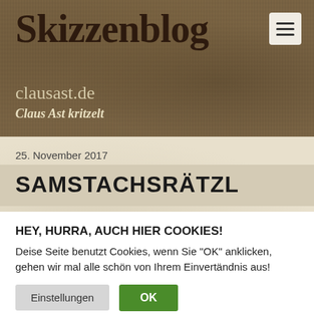[Figure (illustration): Website header banner with burlap/cardboard texture background in brown/tan color. Contains handwritten-style blog title 'Skizzenblog clausast.de' in dark brown, tagline 'Claus Ast kritzelt' in cream italic, and hamburger menu button in top right corner.]
25. November 2017
SAMSTACHSRÄTZL
HEY, HURRA, AUCH HIER COOKIES!
Deise Seite benutzt Cookies, wenn Sie "OK" anklicken, gehen wir mal alle schön von Ihrem Einvertändnis aus!
Einstellungen    OK